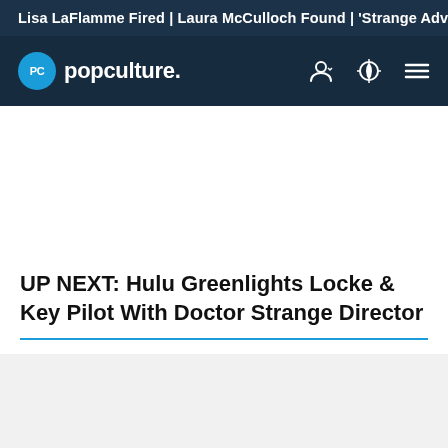Lisa LaFlamme Fired | Laura McCulloch Found | 'Strange Adv
[Figure (logo): Popculture.com logo with blue circle PC icon and navigation icons]
UP NEXT: Hulu Greenlights Locke & Key Pilot With Doctor Strange Director